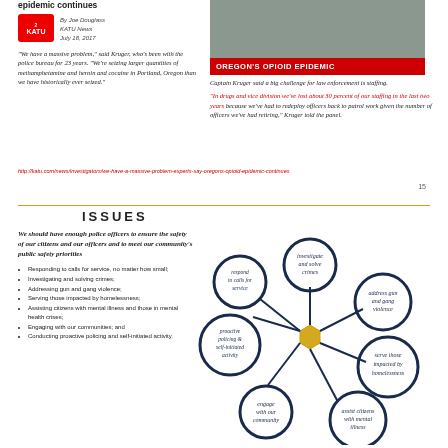epidemic continues
By Joe Douglass
KATU News
July 18, 2017
"We have a massive problem," said Kruger, who's been with the police bureau for 23 years. "We're seizing larger quantities of methamphetamine and heroin and cocaine in Portland, Oregon than we have historically ever seized."
[Figure (photo): News screenshot showing Oregon's Opioid Epidemic segment with red banner overlay]
Captain Kruger said a big challenge for law enforcement is staffing.
"In drugs and vice division we've lost about 30 percent of our staffing in the last two years because we've had to redeploy officers back to patrol work given the number of officers we've had retiring," Kruger told the panel.
http://katu.com/news/investigators/we-have-a-massive-problem-experts-say-oregons-opioid-epidemic-continues
15
ISSUES
We should have enough police officers to ensure the safety of our citizens and our officers and to meet our community's public safety priorities
Responding to calls for service, no matter how small;
Investigating and solving crimes;
Addressing gun and gang violence;
Serving those impacted by homelessness;
Assisting citizens with mental illness and those in mental health crises;
Engaging with our communities; and
Conducting proactive policing and self-initiated activity.
[Figure (infographic): Flower/network diagram with dark navy circles containing: investigate and solve crimes (top), address gun and gang violence (right), serve those impacted by homelessness (lower right), assist citizens with mental illness (bottom right), engage with our community (bottom left), proactive policing & self-initiated activity (left), respond to calls for service (upper left), connected to a central gold hexagon shape]